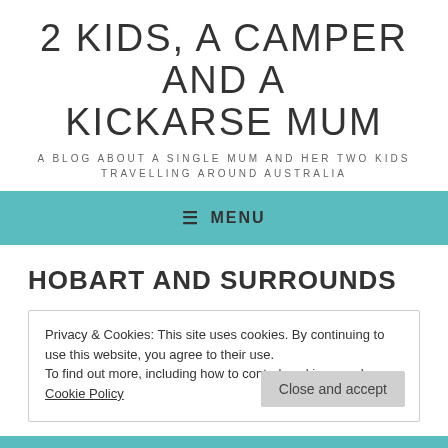2 KIDS, A CAMPER AND A KICKARSE MUM
A BLOG ABOUT A SINGLE MUM AND HER TWO KIDS TRAVELLING AROUND AUSTRALIA
≡ MENU
HOBART AND SURROUNDS
Privacy & Cookies: This site uses cookies. By continuing to use this website, you agree to their use. To find out more, including how to control cookies, see here: Cookie Policy
Close and accept